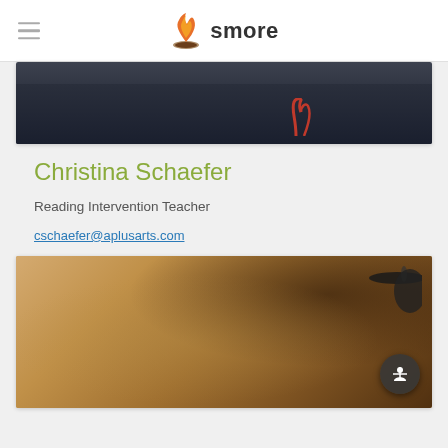smore
[Figure (photo): Cropped photo showing person wearing dark navy shirt with red emblem/logo]
Christina Schaefer
Reading Intervention Teacher
cschaefer@aplusarts.com
[Figure (photo): Sepia-toned photo of woman with curly hair wearing glasses, with drum cymbals visible in background]